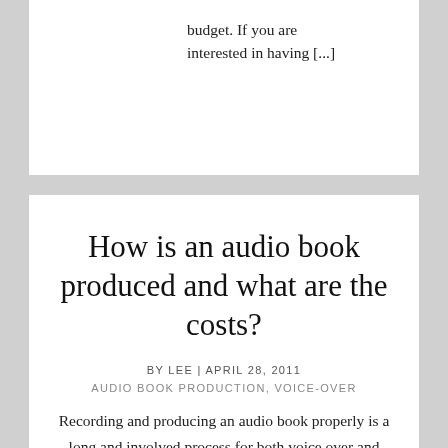budget. If you are interested in having [...]
How is an audio book produced and what are the costs?
BY LEE | APRIL 28, 2011
AUDIO BOOK PRODUCTION, VOICE-OVER
Recording and producing an audio book properly is a long and involved process for both voice over and audio producer.  This article explains what the process involves and covers ball park costs. Who is